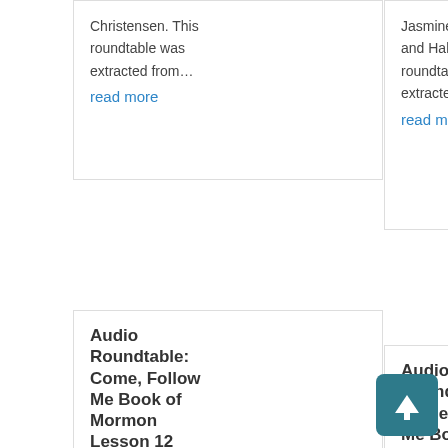Christensen. This roundtable was extracted from...
read more
Jasmine Rappleye and Hales Swift. This roundtable was extracted from the...
read more
Audio Roundtable: Come, Follow Me Book of Mormon Lesson 12 (Jacob 5-7)
by Administration | Mar 10, 2020 | 1 comment
This is an
Audio Roundtable: Come, Follow Me Book of Mormon Lesson 11 (Jacob 1-4)
by Administration | Mar 7, 2020 | 0 comments
This i...